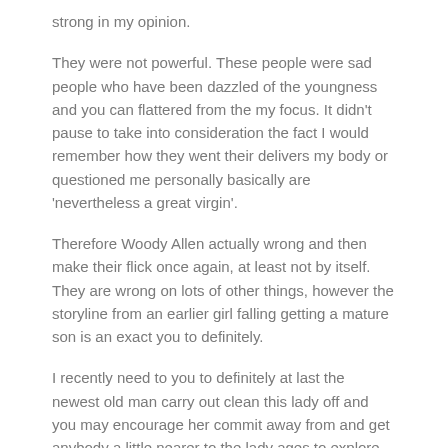strong in my opinion.
They were not powerful. These people were sad people who have been dazzled of the youngness and you can flattered from the my focus. It didn’t pause to take into consideration the fact I would remember how they went their delivers my body or questioned me personally basically are ‘nevertheless a great virgin’.
Therefore Woody Allen actually wrong and then make their flick once again, at least not by itself. They are wrong on lots of other things, however the storyline from an earlier girl falling getting a mature son is an exact you to definitely.
I recently need to you to definitely at last the newest old man carry out clean this lady off and you may encourage her commit away from and get anybody a little nearer to the lady ages to explore with, at the